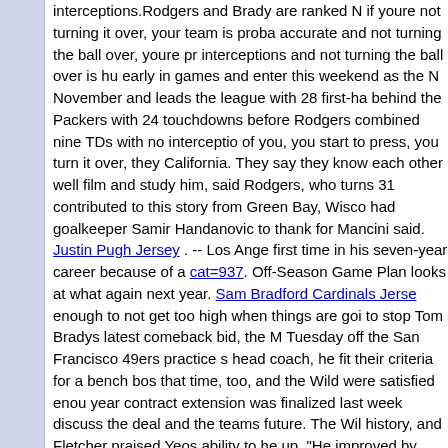interceptions.Rodgers and Brady are ranked N... if youre not turning it over, your team is proba... accurate and not turning the ball over, youre pr... interceptions and not turning the ball over is hu... early in games and enter this weekend as the N... November and leads the league with 28 first-ha... behind the Packers with 24 touchdowns before... Rodgers combined nine TDs with no interceptio... of you, you start to press, you turn it over, they... California. They say they know each other well... film and study him, said Rodgers, who turns 31... contributed to this story from Green Bay, Wisco... had goalkeeper Samir Handanovic to thank for... Mancini said. Justin Pugh Jersey . -- Los Ange... first time in his seven-year career because of a... cat=937. Off-Season Game Plan looks at what... again next year. Sam Bradford Cardinals Jerse... enough to not get too high when things are goi... to stop Tom Bradys latest comeback bid, the M... Tuesday off the San Francisco 49ers practice s... head coach, he fit their criteria for a bench bos... that time, too, and the Wild were satisfied enou... year contract extension was finalized last week... discuss the deal and the teams future. The Wil... history, and Fletcher praised Yeos ability to he... up. "He improved by leaps and bounds, and its... make them, and the confidence to sell them...